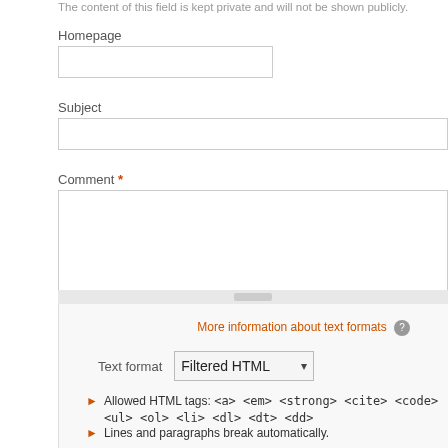The content of this field is kept private and will not be shown publicly.
Homepage
Subject
Comment *
More information about text formats
Text format   Filtered HTML
Allowed HTML tags: <a> <em> <strong> <cite> <code> <ul> <ol> <li> <dl> <dt> <dd>
Lines and paragraphs break automatically.